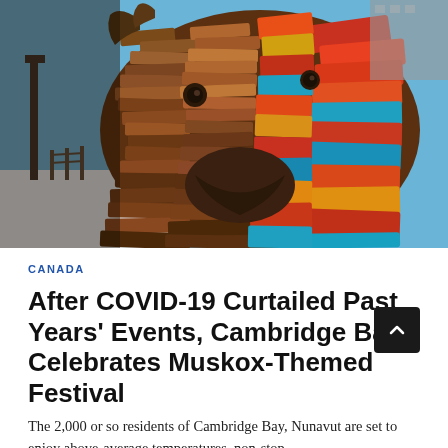[Figure (photo): Close-up photograph of a large muskox sculpture made from layered wooden planks and pieces, with the left side in earth tones (browns and dark wood) and the right side featuring colorful planks in red, blue, teal, orange, and yellow. The sculpture is outdoors in a winter setting with snow and blue sky visible in the background.]
CANADA
After COVID-19 Curtailed Past Years’ Events, Cambridge Bay Celebrates Muskox-Themed Festival
The 2,000 or so residents of Cambridge Bay, Nunavut are set to enjoy above-average temperatures, non-stop